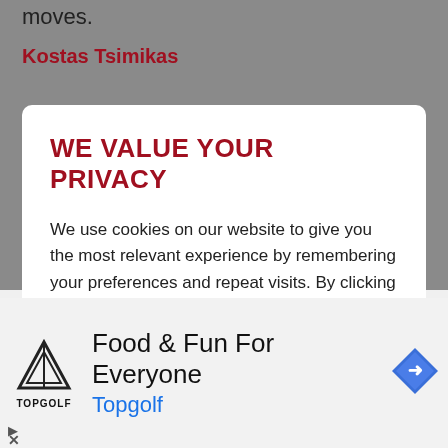moves.
Kostas Tsimikas
WE VALUE YOUR PRIVACY
We use cookies on our website to give you the most relevant experience by remembering your preferences and repeat visits. By clicking "Accept All", you consent to the use of ALL the cookies. However, you may visit "Cookie Settings" to provide a controlled consent.
COOKIE SETTINGS
ACCEPT ALL
[Figure (infographic): Advertisement for Topgolf with logo, tagline 'Food & Fun For Everyone', brand name 'Topgolf', and navigation arrow icon]